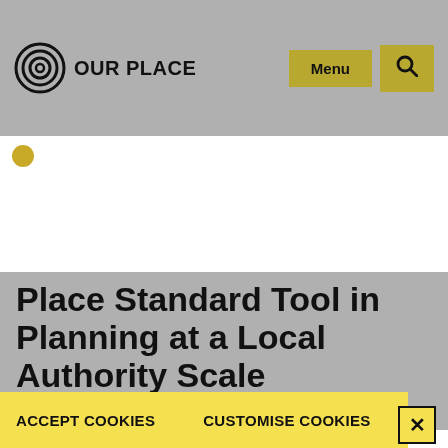OUR PLACE — Menu [search icon]
Place Standard Tool in Planning at a Local Authority Scale
Your choice regarding cookies on this site
We use cookies to give the best possible experience on this website and to improve how our online services are delivered. You can accept our cookies policy or customise your choices.
ACCEPT COOKIES    CUSTOMISE COOKIES